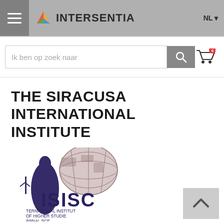Intersentia — NL
Ik ben op zoek naar
THE SIRACUSA INTERNATIONAL INSTITUTE
[Figure (logo): ISISC – International Institute of Higher Studies in Criminal Sciences logo, showing a figure of justice and a globe, with text ISISC TERNATIONAL INSTITUT OF HIGHER STUDIE IMINAL SCE]